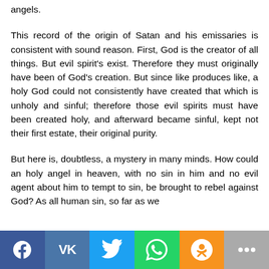angels.
This record of the origin of Satan and his emissaries is consistent with sound reason. First, God is the creator of all things. But evil spirit's exist. Therefore they must originally have been of God's creation. But since like produces like, a holy God could not consistently have created that which is unholy and sinful; therefore those evil spirits must have been created holy, and afterward became sinful, kept not their first estate, their original purity.
But here is, doubtless, a mystery in many minds. How could an holy angel in heaven, with no sin in him and no evil agent about him to tempt to sin, be brought to rebel against God? As all human sin, so far as we
[Figure (other): Social sharing bar with buttons for Facebook, VK, Twitter, WhatsApp, Odnoklassniki, and More (ellipsis)]